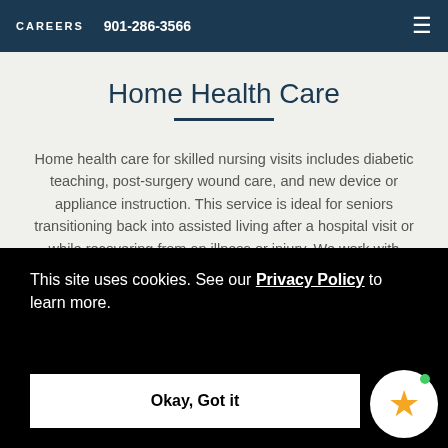CAREERS  901-286-3566
Home Health Care
Home health care for skilled nursing visits includes diabetic teaching, post-surgery wound care, and new device or appliance instruction. This service is ideal for seniors transitioning back into assisted living after a hospital visit or while recovering from an illness or injury. We work with community home health providers to help care
This site uses cookies. See our Privacy Policy to learn more. Okay, Got it